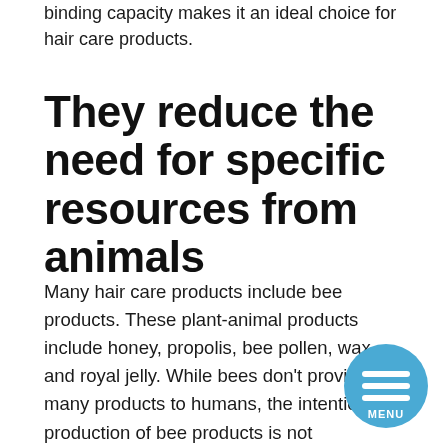binding capacity makes it an ideal choice for hair care products.
They reduce the need for specific resources from animals
Many hair care products include bee products. These plant-animal products include honey, propolis, bee pollen, wax, and royal jelly. While bees don't provide many products to humans, the intentional production of bee products is not environmentally friendly and has detrimental effects on bees. Plant-based alternatives to bee products include soya or plant wax. Vegan shampoos typically use less harsh ingredients than other hair care products.